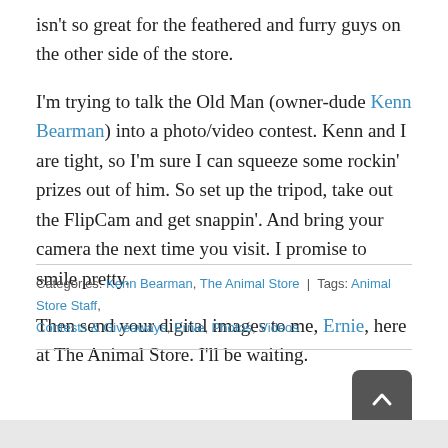isn't so great for the feathered and furry guys on the other side of the store.
I'm trying to talk the Old Man (owner-dude Kenn Bearman) into a photo/video contest. Kenn and I are tight, so I'm sure I can squeeze some rockin' prizes out of him. So set up the tripod, take out the FlipCam and get snappin'. And bring your camera the next time you visit. I promise to smile pretty.
Then send your digital images to me, Ernie, here at The Animal Store. I'll be waiting.
Categories: Kenn Bearman, The Animal Store | Tags: Animal Store Staff, Contests & Giveaways, Ernie, Photos, Videos